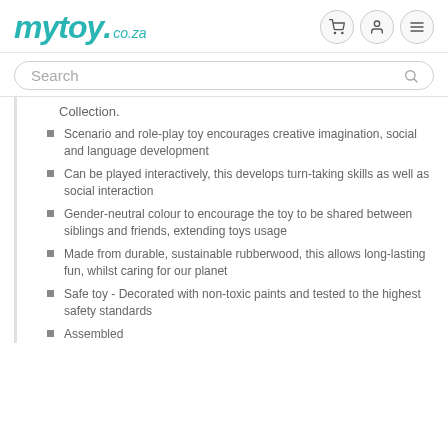mytoy.co.za
Search
Collection.
Scenario and role-play toy encourages creative imagination, social and language development
Can be played interactively, this develops turn-taking skills as well as social interaction
Gender-neutral colour to encourage the toy to be shared between siblings and friends, extending toys usage
Made from durable, sustainable rubberwood, this allows long-lasting fun, whilst caring for our planet
Safe toy - Decorated with non-toxic paints and tested to the highest safety standards
Assembled